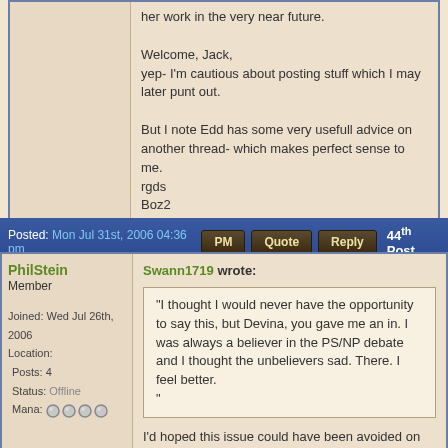her work in the very near future.

Welcome, Jack,
yep- I'm cautious about posting stuff which I may later punt out.

But I note Edd has some very usefull advice on another thread- which makes perfect sense to me.
rgds
Boz2
Back To Top  PM  Quote  Reply
Posted: Mon Jul 31st, 2006 04:36 pm  PM  Quote  Reply  44th Post
PhilStein
Member
Joined: Wed Jul 26th, 2006
Location:
Posts: 4
Status: Offline
Mana:
Swann1719 wrote:
"I thought I would never have the opportunity to say this, but Devina, you gave me an in.  I was always a believer in the PS/NP debate and I thought the unbelievers sad.  There.  I feel better.
"
I'd hoped this issue could have been avoided on this forum. To use your own turn of phrase, Swann - I fear that statement may well have been "throwing down the gauntlet" to those it's aimed at and could well start the whole sorry